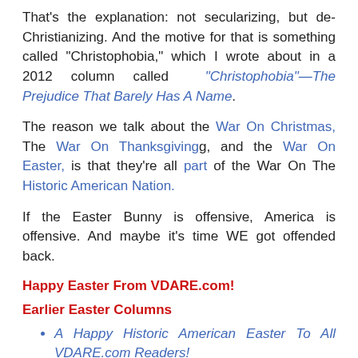That's the explanation: not secularizing, but de-Christianizing. And the motive for that is something called "Christophobia," which I wrote about in a 2012 column called “Christophobia”—The Prejudice That Barely Has A Name.
The reason we talk about the War On Christmas, The War On Thanksgiving, and the War On Easter, is that they're all part of the War On The Historic American Nation.
If the Easter Bunny is offensive, America is offensive. And maybe it's time WE got offended back.
Happy Easter From VDARE.com!
Earlier Easter Columns
A Happy Historic American Easter To All VDARE.com Readers!